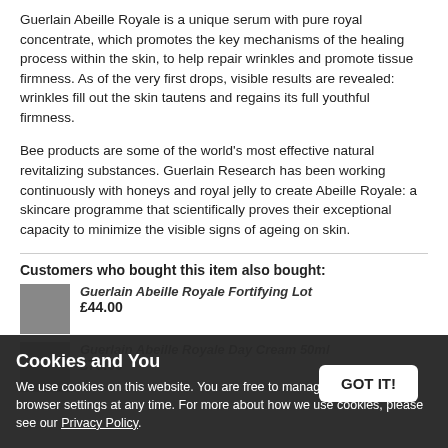Guerlain Abeille Royale is a unique serum with pure royal concentrate, which promotes the key mechanisms of the healing process within the skin, to help repair wrinkles and promote tissue firmness. As of the very first drops, visible results are revealed: wrinkles fill out the skin tautens and regains its full youthful firmness.
Bee products are some of the world's most effective natural revitalizing substances. Guerlain Research has been working continuously with honeys and royal jelly to create Abeille Royale: a skincare programme that scientifically proves their exceptional capacity to minimize the visible signs of ageing on skin.
Customers who bought this item also bought:
Guerlain Abeille Royale Fortifying Lotion
£44.00
Guerlain Abeille Royale Day Cream 50ml
£75.00
Cookies and You
We use cookies on this website. You are free to manage these via your browser settings at any time. For more about how we use cookies, please see our Privacy Policy.
GOT IT!